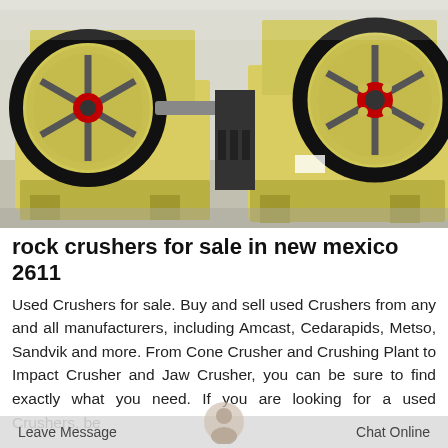[Figure (photo): Two large yellow and red jaw crusher machines sitting on a concrete warehouse floor. Multiple similar machines visible in the background.]
rock crushers for sale in new mexico 2611
Used Crushers for sale. Buy and sell used Crushers from any and all manufacturers, including Amcast, Cedarapids, Metso, Sandvik and more. From Cone Crusher and Crushing Plant to Impact Crusher and Jaw Crusher, you can be sure to find exactly what you need. If you are looking for a used Crushers, be
Leave Message   Chat Online